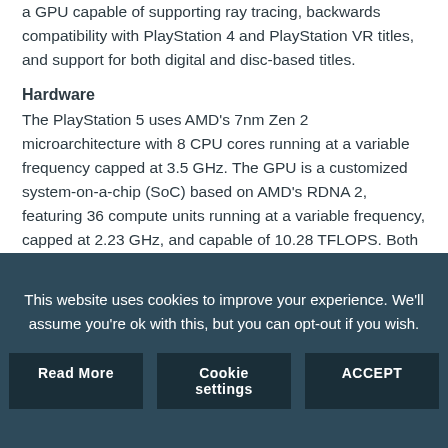a GPU capable of supporting ray tracing, backwards compatibility with PlayStation 4 and PlayStation VR titles, and support for both digital and disc-based titles.
Hardware
The PlayStation 5 uses AMD's 7nm Zen 2 microarchitecture with 8 CPU cores running at a variable frequency capped at 3.5 GHz. The GPU is a customized system-on-a-chip (SoC) based on AMD's RDNA 2, featuring 36 compute units running at a variable frequency, capped at 2.23 GHz, and capable of 10.28 TFLOPS. Both the CPU and GPU are monitored by a special boost system incorporating AMD's
This website uses cookies to improve your experience. We'll assume you're ok with this, but you can opt-out if you wish.